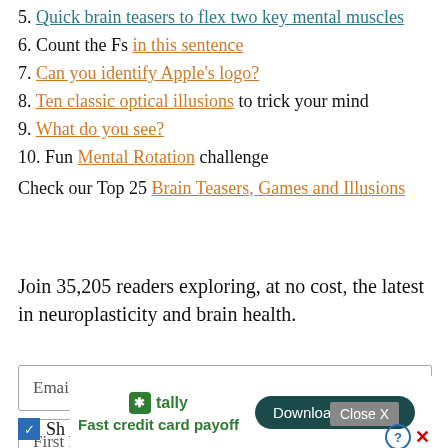5. Quick brain teasers to flex two key mental muscles
6. Count the Fs in this sentence
7. Can you identify Apple's logo?
8. Ten classic optical illusions to trick your mind
9. What do you see?
10. Fun Mental Rotation challenge
Check our Top 25 Brain Teasers, Games and Illusions
Join 35,205 readers exploring, at no cost, the latest in neuroplasticity and brain health.
[Figure (screenshot): Email input field form placeholder text 'Email *']
[Figure (screenshot): First Name input field form placeholder text 'First Name *']
[Figure (screenshot): Last Name input field form placeholder text 'Last Name *', with Close X button overlay, Tally ad overlay with Download Now button, help and close icons, and a checkbox with 'Sh' text]